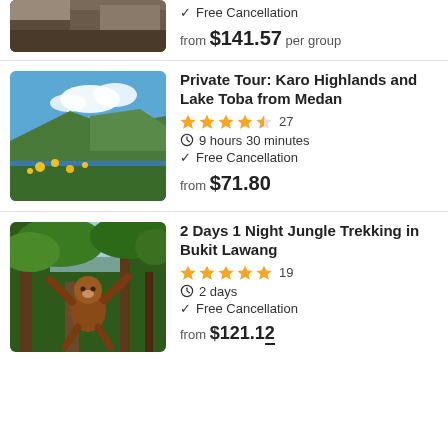Free Cancellation | from $141.57 per group
Private Tour: Karo Highlands and Lake Toba from Medan
4.5 stars, 27 reviews | 9 hours 30 minutes | Free Cancellation | from $71.80
2 Days 1 Night Jungle Trekking in Bukit Lawang
5 stars, 19 reviews | 2 days | Free Cancellation | from $121.12